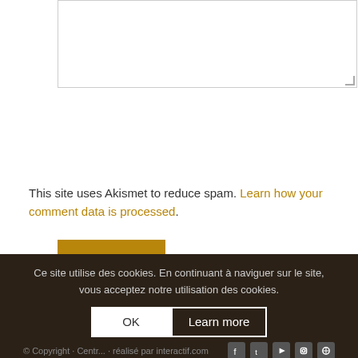[textarea input box]
Post Comment
This site uses Akismet to reduce spam. Learn how your comment data is processed.
Ce site utilise des cookies. En continuant à naviguer sur le site, vous acceptez notre utilisation des cookies. OK | Learn more | © Copyright · Centre · réalisé par interactif.com